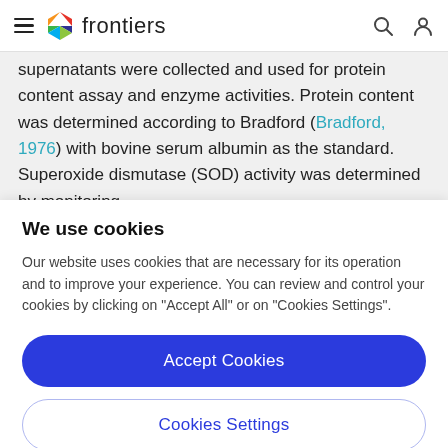frontiers
supernatants were collected and used for protein content assay and enzyme activities. Protein content was determined according to Bradford (Bradford, 1976) with bovine serum albumin as the standard. Superoxide dismutase (SOD) activity was determined by monitoring
We use cookies
Our website uses cookies that are necessary for its operation and to improve your experience. You can review and control your cookies by clicking on "Accept All" or on "Cookies Settings".
Accept Cookies
Cookies Settings